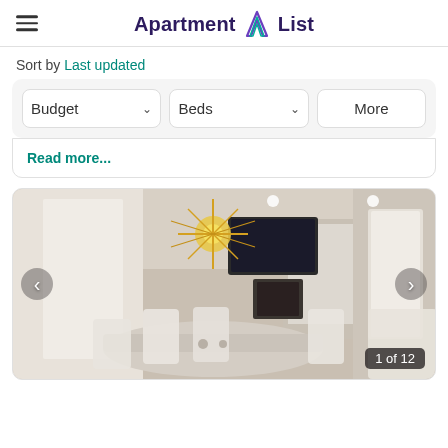Apartment List
Sort by Last updated
Budget  Beds  More
Read More...
[Figure (photo): Interior photo of a modern apartment dining/living room with a starburst chandelier, dining table and chairs, fireplace, mounted TV, and kitchen in background. Image counter shows '1 of 12'.]